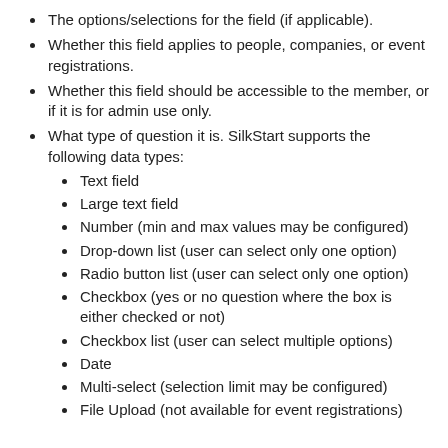The options/selections for the field (if applicable).
Whether this field applies to people, companies, or event registrations.
Whether this field should be accessible to the member, or if it is for admin use only.
What type of question it is. SilkStart supports the following data types:
Text field
Large text field
Number (min and max values may be configured)
Drop-down list (user can select only one option)
Radio button list (user can select only one option)
Checkbox (yes or no question where the box is either checked or not)
Checkbox list (user can select multiple options)
Date
Multi-select (selection limit may be configured)
File Upload (not available for event registrations)